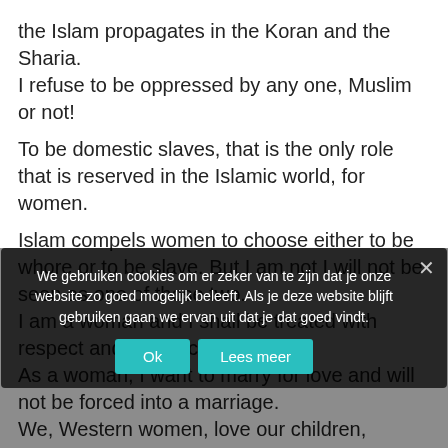the Islam propagates in the Koran and the Sharia.
I refuse to be oppressed by any one, Muslim or not!

To be domestic slaves, that is the only role that is reserved in the Islamic world, for women.
Islam compels women to choose either to be whore or to be slave. But I am not I will not be seen as one of those two.
I am a woman and I shall be treated with respect and not as commodity.
As a woman, I want to marry for love and will not be forced into a marriage.
We, Western women, love our children, protect and educate them. We are not production machine for jihadists.
As a woman, I want to enjoy every facet of being a woman, while being claiming my own needs and interests.
We choose, we decide. We are not commodities and our value does not depend on our virginity.
If Muslim men want to see and treat women as disposables, they better buy an inflatable doll!
We gebruiken cookies om er zeker van te zijn dat je onze website zo goed mogelijk beleeft. Als je deze website blijft gebruiken gaan we ervan uit dat je dat goed vindt.